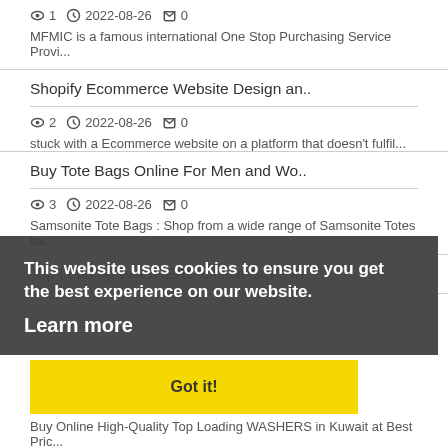1  2022-08-26  0
MFMIC is a famous international One Stop Purchasing Service Provi...
Shopify Ecommerce Website Design an..
2  2022-08-26  0
stuck with a Ecommerce website on a platform that doesn't fulfil...
Buy Tote Bags Online For Men and Wo..
3  2022-08-26  0
Samsonite Tote Bags : Shop from a wide range of Samsonite Totes ba...
This website uses cookies to ensure you get the best experience on our website.
Learn more
Top Loading WASHERS Online Store in..
Got it!
2  2022-08-26  0
Buy Online High-Quality Top Loading WASHERS in Kuwait at Best Pric...